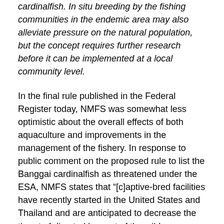cardinalfish. In situ breeding by the fishing communities in the endemic area may also alleviate pressure on the natural population, but the concept requires further research before it can be implemented at a local community level.
In the final rule published in the Federal Register today, NMFS was somewhat less optimistic about the overall effects of both aquaculture and improvements in the management of the fishery. In response to public comment on the proposed rule to list the Banggai cardinalfish as threatened under the ESA, NMFS states that “[c]aptive-bred facilities have recently started in the United States and Thailand and are anticipated to decrease the threat of directed harvest of the wild populations in the future, but the degree to which aquaculture would affect harvest of wild populations is